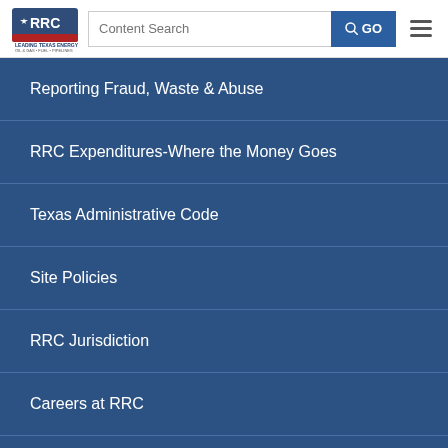RRC Logo, Content Search, GO, Menu
Reporting Fraud, Waste & Abuse
RRC Expenditures-Where the Money Goes
Texas Administrative Code
Site Policies
RRC Jurisdiction
Careers at RRC
Subscription Services
Mission Statement